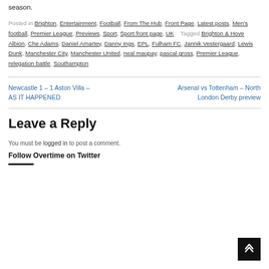season.
Posted in Brighton, Entertainment, Football, From The Hub, Front Page, Latest posts, Men's football, Premier League, Previews, Sport, Sport front page, UK   Tagged Brighton & Hove Albion, Che Adams, Daniel Amartey, Danny Ings, EPL, Fulham FC, Jannik Vestergaard, Lewis Dunk, Manchester City, Manchester United, neal maupay, pascal gross, Premier League, relegation battle, Southampton
Newcastle 1 – 1 Aston Villa – AS IT HAPPENED
Arsenal vs Tottenham – North London Derby preview
Leave a Reply
You must be logged in to post a comment.
Follow Overtime on Twitter